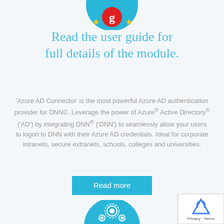[Figure (illustration): Blue circular icon with a red 'g' logo badge and gold stars, partially cropped at the top of the page]
Read the user guide for full details of the module.
'Azure AD Connector' is the most powerful Azure AD authentication provider for DNN©. Leverage the power of Azure® Active Directory® ('AD') by integrating DNN® ('DNN') to seamlessly allow your users to logon to DNN with their Azure AD credentials. Ideal for corporate intranets, secure extranets, schools, colleges and universities.
[Figure (illustration): Cyan/blue 'Read more' button]
[Figure (illustration): Blue circular icon with white gear/people icons, partially cropped at the bottom]
[Figure (logo): reCAPTCHA privacy badge in the bottom right corner with Privacy and Terms links]